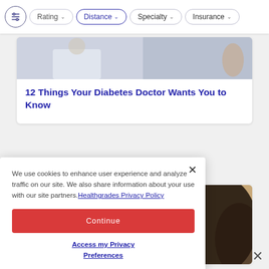Rating | Distance | Specialty | Insurance
[Figure (photo): Partial view of a doctor in white coat — article thumbnail image]
12 Things Your Diabetes Doctor Wants You to Know
[Figure (photo): Close-up of a woman holding a kiwi fruit slice up to her eye]
[Figure (other): Blue side-tab icon (bookmark/notification widget)]
We use cookies to enhance user experience and analyze traffic on our site. We also share information about your use with our site partners. Healthgrades Privacy Policy
Continue
Access my Privacy Preferences